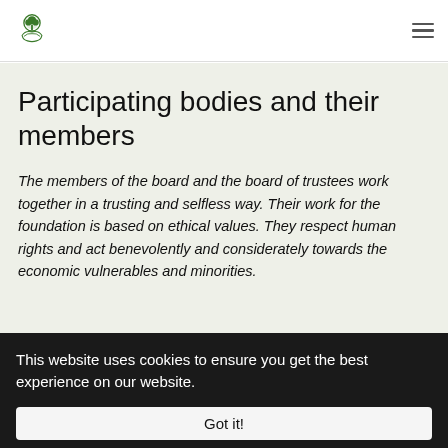[Logo] [Hamburger menu]
Participating bodies and their members
The members of the board and the board of trustees work together in a trusting and selfless way. Their work for the foundation is based on ethical values. They respect human rights and act benevolently and considerately towards the economic vulnerables and minorities.
This website uses cookies to ensure you get the best experience on our website.
Got it!